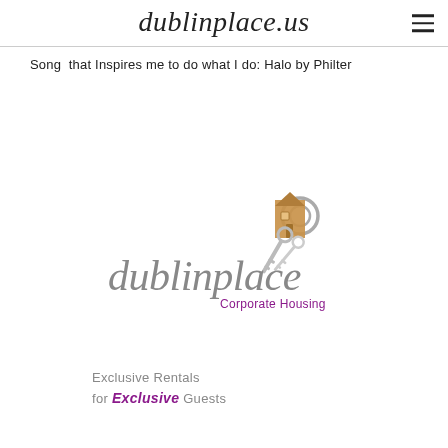dublinplace.us
Song  that Inspires me to do what I do: Halo by Philter
[Figure (logo): dublinplace Corporate Housing logo with keys and house icon, script text 'dublinplace' in gray and 'Corporate Housing' in purple]
Exclusive Rentals for Exclusive Guests